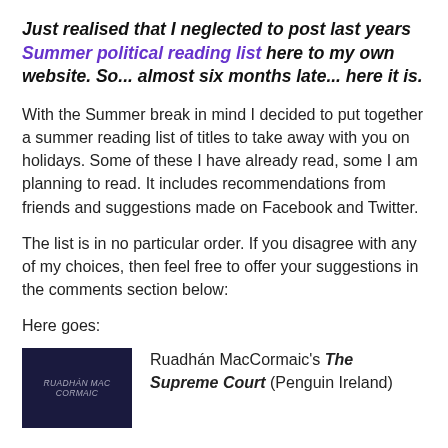Just realised that I neglected to post last years Summer political reading list here to my own website. So... almost six months late... here it is.
With the Summer break in mind I decided to put together a summer reading list of titles to take away with you on holidays. Some of these I have already read, some I am planning to read. It includes recommendations from friends and suggestions made on Facebook and Twitter.
The list is in no particular order. If you disagree with any of my choices, then feel free to offer your suggestions in the comments section below:
Here goes:
[Figure (photo): Dark navy book cover with text 'RUADHAN MAC CORMAIC' in light letters]
Ruadhán MacCormaic's The Supreme Court (Penguin Ireland)